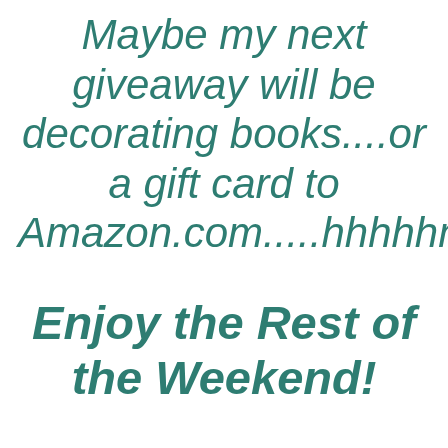Maybe my next giveaway will be decorating books....or a gift card to Amazon.com.....hhhhhmmm.....
Enjoy the Rest of the Weekend!